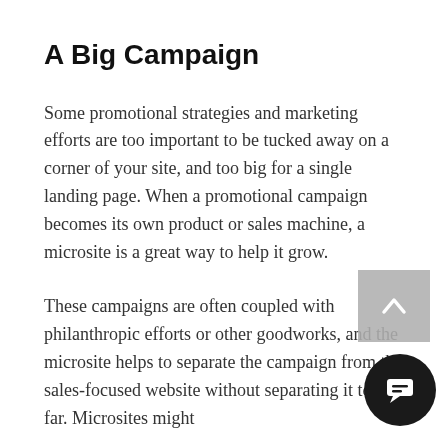A Big Campaign
Some promotional strategies and marketing efforts are too important to be tucked away on a corner of your site, and too big for a single landing page. When a promotional campaign becomes its own product or sales machine, a microsite is a great way to help it grow.
These campaigns are often coupled with philanthropic efforts or other goodworks, and the microsite helps to separate the campaign from the sales-focused website without separating it too far. Microsites might